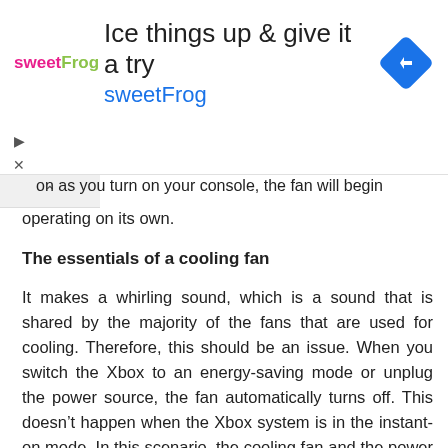[Figure (other): sweetFrog advertisement banner with logo, headline 'Ice things up & give it a try', brand name 'sweetFrog', and a blue diamond navigation icon]
on as you turn on your console, the fan will begin operating on its own.
The essentials of a cooling fan
It makes a whirling sound, which is a sound that is shared by the majority of the fans that are used for cooling. Therefore, this should be an issue. When you switch the Xbox to an energy-saving mode or unplug the power source, the fan automatically turns off. This doesn't happen when the Xbox system is in the instant-on mode. In this scenario, the cooling fan and the power supply will continue to operate normally. If the temperature of the power source rises or falls, the fan's rotational speed and the volume of its noise will adapt accordingly.